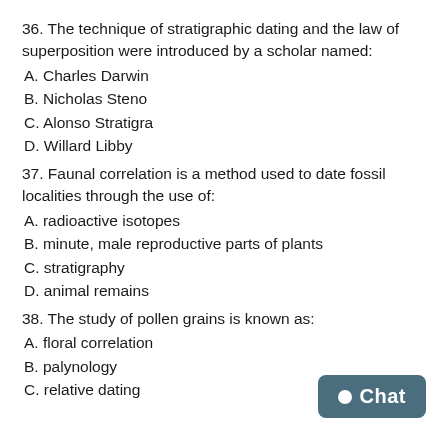36. The technique of stratigraphic dating and the law of superposition were introduced by a scholar named:
A. Charles Darwin
B. Nicholas Steno
C. Alonso Stratigra
D. Willard Libby
37. Faunal correlation is a method used to date fossil localities through the use of:
A. radioactive isotopes
B. minute, male reproductive parts of plants
C. stratigraphy
D. animal remains
38. The study of pollen grains is known as:
A. floral correlation
B. palynology
C. relative dating